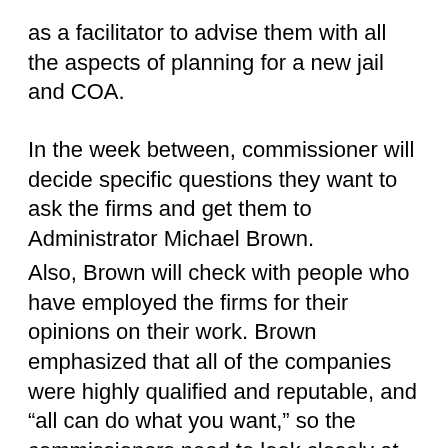as a facilitator to advise them with all the aspects of planning for a new jail and COA.
In the week between, commissioner will decide specific questions they want to ask the firms and get them to Administrator Michael Brown.
Also, Brown will check with people who have employed the firms for their opinions on their work. Brown emphasized that all of the companies were highly qualified and reputable, and “all can do what you want,” so the commissioners need to look closely at the strengths of each firm and decide which best fits their needs.
One important item is how the plan to communicate with the community, “citizen engagement is critical,” Commissioner Ben Geiger said, and also what experience and ideas they have in local government